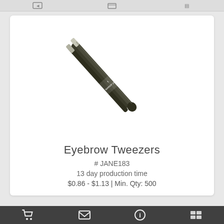[Figure (photo): Black eyebrow tweezers with 'tweezer guru' branding, shown diagonally at an angle, slanted metallic tip visible]
Eyebrow Tweezers
# JANE183
13 day production time
$0.86 - $1.13 | Min. Qty: 500